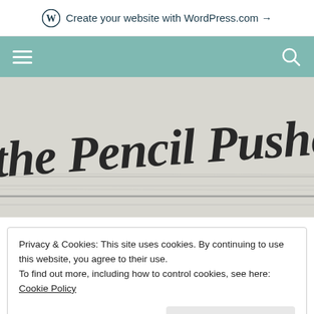Create your website with WordPress.com →
[Figure (screenshot): Teal navigation bar with hamburger menu icon on the left and search icon on the right]
[Figure (photo): Handwritten cursive text in pencil/charcoal reading 'the Pencil Pusher' with ruled lines below on paper background]
Privacy & Cookies: This site uses cookies. By continuing to use this website, you agree to their use.
To find out more, including how to control cookies, see here: Cookie Policy
Close and accept